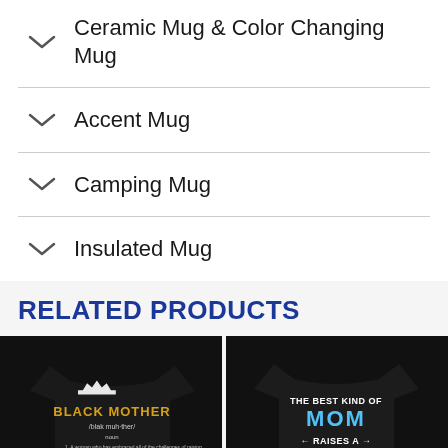Ceramic Mug & Color Changing Mug
Accent Mug
Camping Mug
Insulated Mug
RELATED PRODUCTS
[Figure (photo): Black t-shirt with 'BLACK MOTHER' definition text in gold and white]
[Figure (photo): Black t-shirt with colorful text 'THE BEST KIND OF MOM RAISES A TEACHER']